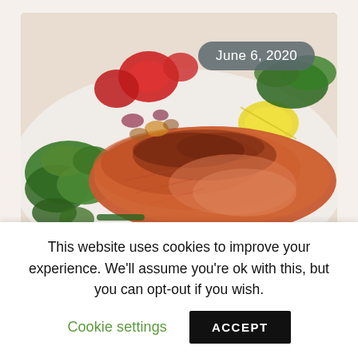[Figure (photo): Grilled salmon fillet with fresh salad including tomatoes, green leaves, and a lemon wedge on a white plate, with date badge overlay reading 'June 6, 2020']
In Dieting, Research
This website uses cookies to improve your experience. We'll assume you're ok with this, but you can opt-out if you wish.
Cookie settings
ACCEPT